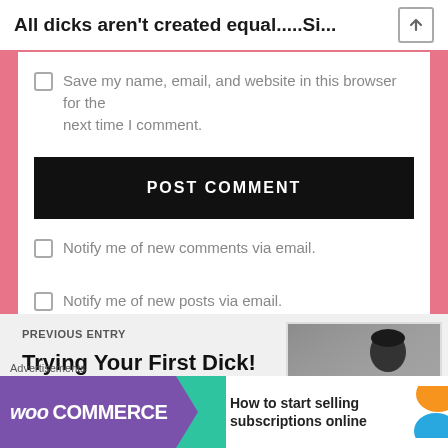All dicks aren't created equal.....Si...
Save my name, email, and website in this browser for the next time I comment.
POST COMMENT
Notify me of new comments via email.
Notify me of new posts via email.
PREVIOUS ENTRY
Trying Your First Dick!
[Figure (photo): Photo of a man's head/shoulders in grayscale]
Advertisements
[Figure (screenshot): WooCommerce advertisement banner - How to start selling subscriptions online]